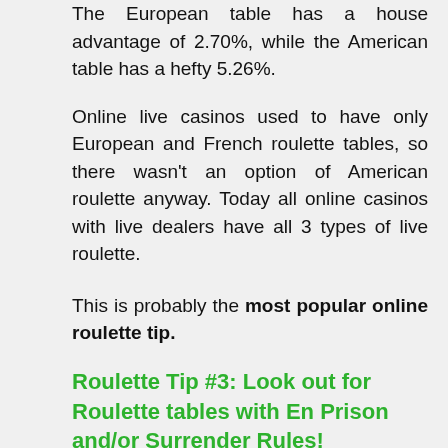The European table has a house advantage of 2.70%, while the American table has a hefty 5.26%.
Online live casinos used to have only European and French roulette tables, so there wasn't an option of American roulette anyway. Today all online casinos with live dealers have all 3 types of live roulette.
This is probably the most popular online roulette tip.
Roulette Tip #3: Look out for Roulette tables with En Prison and/or Surrender Rules!
If you are an experienced roulette player, then you may already know about the